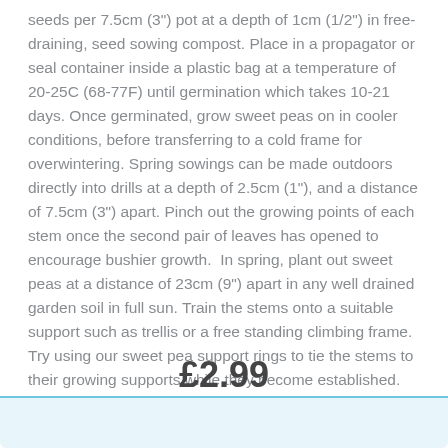seeds per 7.5cm (3") pot at a depth of 1cm (1/2") in free-draining, seed sowing compost. Place in a propagator or seal container inside a plastic bag at a temperature of 20-25C (68-77F) until germination which takes 10-21 days. Once germinated, grow sweet peas on in cooler conditions, before transferring to a cold frame for overwintering. Spring sowings can be made outdoors directly into drills at a depth of 2.5cm (1"), and a distance of 7.5cm (3") apart. Pinch out the growing points of each stem once the second pair of leaves has opened to encourage bushier growth.  In spring, plant out sweet peas at a distance of 23cm (9") apart in any well drained garden soil in full sun. Train the stems onto a suitable support such as trellis or a free standing climbing frame. Try using our sweet pea support rings to tie the stems to their growing supports while they become established.
£2.99